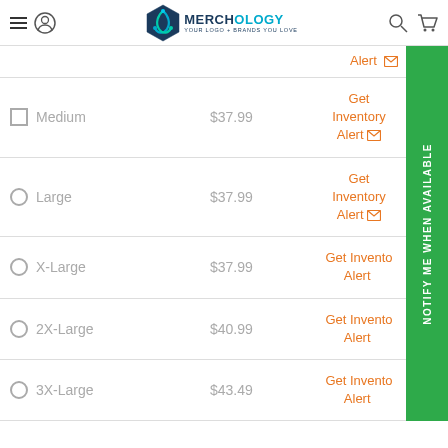Merchology - Your Logo + Brands You Love
Medium | $37.99 | Get Inventory Alert
Large | $37.99 | Get Inventory Alert
X-Large | $37.99 | Get Inventory Alert
2X-Large | $40.99 | Get Inventory Alert
3X-Large | $43.49 | Get Inventory Alert